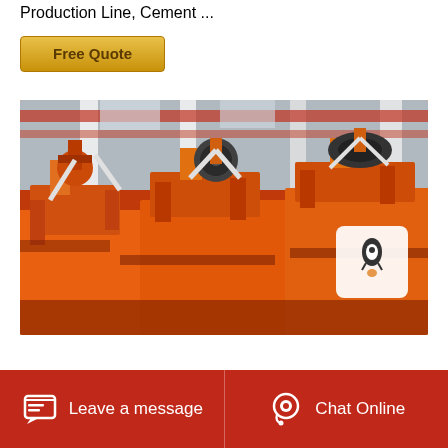Production Line, Cement ...
Free Quote
[Figure (photo): Industrial manufacturing facility showing rows of large orange-painted mining/flotation machines (likely flotation cells) in a factory warehouse with white structural columns and red overhead crane beams.]
Leave a message   Chat Online